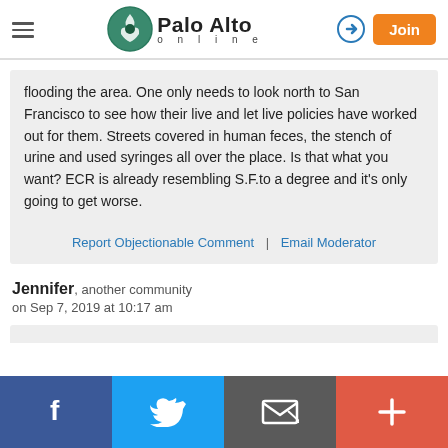Palo Alto online
flooding the area. One only needs to look north to San Francisco to see how their live and let live policies have worked out for them. Streets covered in human feces, the stench of urine and used syringes all over the place. Is that what you want? ECR is already resembling S.F.to a degree and it's only going to get worse.
Report Objectionable Comment | Email Moderator
Jennifer, another community
on Sep 7, 2019 at 10:17 am
Facebook | Twitter | Email | +